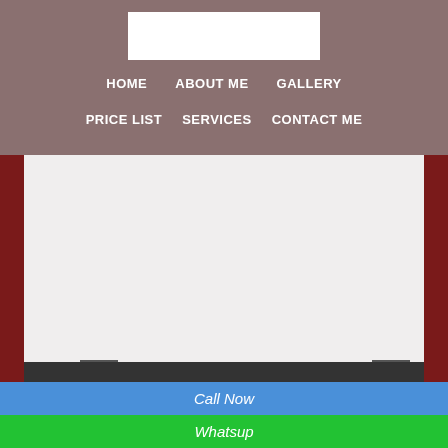[Figure (logo): White logo box in mauve/brown navigation header]
HOME   ABOUT ME   GALLERY   PRICE LIST   SERVICES   CONTACT ME
[Figure (other): Image slider with light grey background and left/right navigation arrows]
We Have India's Largest Escort Profiles - Sexy Mahi Palakkad Escort Agency
Call Now
Whatsup